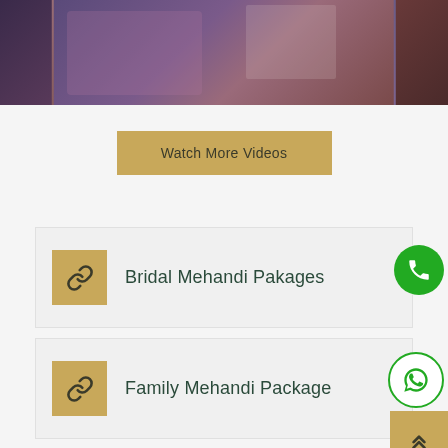[Figure (photo): Top portion of a photo showing people at what appears to be a mehandi/henna event with dark purple/maroon background]
Watch More Videos
Bridal Mehandi Pakages
Family Mehandi Package